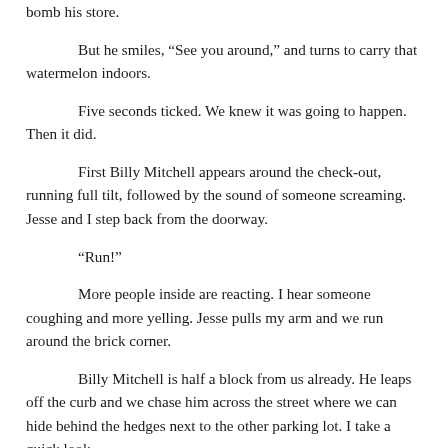bomb his store.
But he smiles, “See you around,” and turns to carry that watermelon indoors.
Five seconds ticked. We knew it was going to happen. Then it did.
First Billy Mitchell appears around the check-out, running full tilt, followed by the sound of someone screaming. Jesse and I step back from the doorway.
“Run!”
More people inside are reacting. I hear someone coughing and more yelling. Jesse pulls my arm and we run around the brick corner.
Billy Mitchell is half a block from us already. He leaps off the curb and we chase him across the street where we can hide behind the hedges next to the other parking lot. I take a quick look